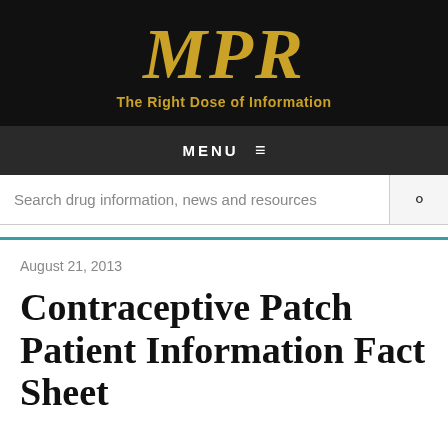MPR — The Right Dose of Information
MENU ≡
Search drug information, news and resources
August 21, 2013
Contraceptive Patch Patient Information Fact Sheet